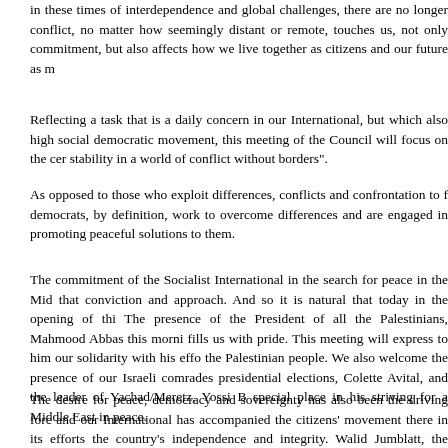in these times of interdependence and global challenges, there are no longer conflict, no matter how seemingly distant or remote, touches us, not only commitment, but also affects how we live together as citizens and our future as m
Reflecting a task that is a daily concern in our International, but which also high social democratic movement, this meeting of the Council will focus on the cer stability in a world of conflict without borders".
As opposed to those who exploit differences, conflicts and confrontation to f democrats, by definition, work to overcome differences and are engaged in promoting peaceful solutions to them.
The commitment of the Socialist International in the search for peace in the Mid that conviction and approach. And so it is natural that today in the opening of thi The presence of the President of all the Palestinians, Mahmood Abbas this morni fills us with pride. This meeting will express to him our solidarity with his effo the Palestinian people. We also welcome the presence of our Israeli comrades presidential elections, Colette Avital, and the leader of Yachad/Meretz, Yossi B special place in his striving for a Middle East in peace.
The desire for peace, democracy and sovereignty has also been the driving forc and our International has accompanied the citizens' movement there in its efforts the country's independence and integrity. Walid Jumblatt, the leader of our mem and will present his vision for Lebanon, and for the future to which he, along wit